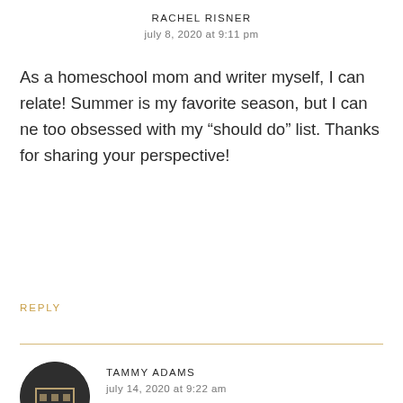RACHEL RISNER
july 8, 2020 at 9:11 pm
As a homeschool mom and writer myself, I can relate! Summer is my favorite season, but I can ne too obsessed with my “should do” list. Thanks for sharing your perspective!
REPLY
TAMMY ADAMS
july 14, 2020 at 9:22 am
Finally, someone understands the pressure I as a creative, put on myself in